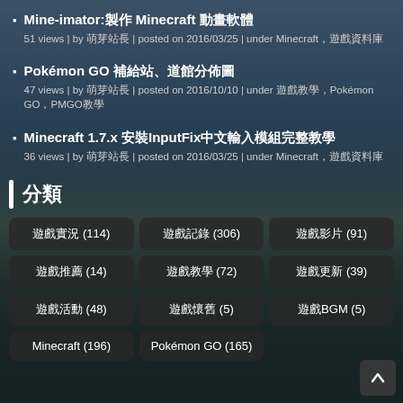Mine-imator:製作 Minecraft 動畫軟體
51 views | by 萌芽站長 | posted on 2016/03/25 | under Minecraft，遊戲資料庫
Pokémon GO 補給站、道館分佈圖
47 views | by 萌芽站長 | posted on 2016/10/10 | under 遊戲教學，Pokémon GO，PMGO教學
Minecraft 1.7.x 安裝InputFix中文輸入模組完整教學
36 views | by 萌芽站長 | posted on 2016/03/25 | under Minecraft，遊戲資料庫
分類
遊戲實況 (114)
遊戲記錄 (306)
遊戲影片 (91)
遊戲推薦 (14)
遊戲教學 (72)
遊戲更新 (39)
遊戲活動 (48)
遊戲懷舊 (5)
遊戲BGM (5)
Minecraft (196)
Pokémon GO (165)